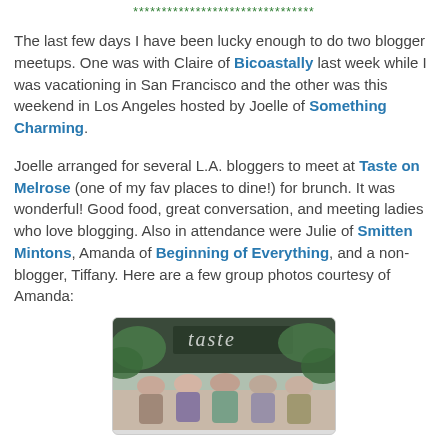********************************
The last few days I have been lucky enough to do two blogger meetups. One was with Claire of Bicoastally last week while I was vacationing in San Francisco and the other was this weekend in Los Angeles hosted by Joelle of Something Charming.
Joelle arranged for several L.A. bloggers to meet at Taste on Melrose (one of my fav places to dine!) for brunch. It was wonderful! Good food, great conversation, and meeting ladies who love blogging. Also in attendance were Julie of Smitten Mintons, Amanda of Beginning of Everything, and a non-blogger, Tiffany. Here are a few group photos courtesy of Amanda:
[Figure (photo): Group photo of bloggers outside Taste on Melrose restaurant, with signage visible and greenery in background, women standing together at bottom of frame.]